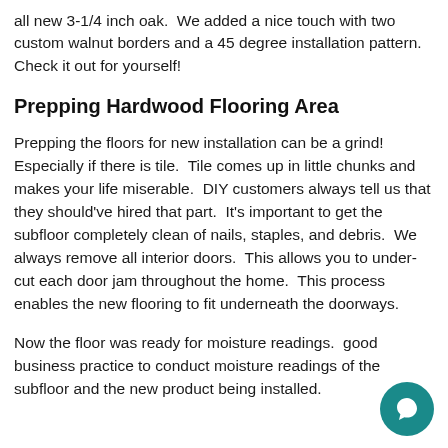all new 3-1/4 inch oak.  We added a nice touch with two custom walnut borders and a 45 degree installation pattern.  Check it out for yourself!
Prepping Hardwood Flooring Area
Prepping the floors for new installation can be a grind!  Especially if there is tile.  Tile comes up in little chunks and makes your life miserable.  DIY customers always tell us that they should've hired that part.  It's important to get the subfloor completely clean of nails, staples, and debris.  We always remove all interior doors.  This allows you to under-cut each door jam throughout the home.  This process enables the new flooring to fit underneath the doorways.
Now the floor was ready for moisture readings.  good business practice to conduct moisture readings of the subfloor and the new product being installed.